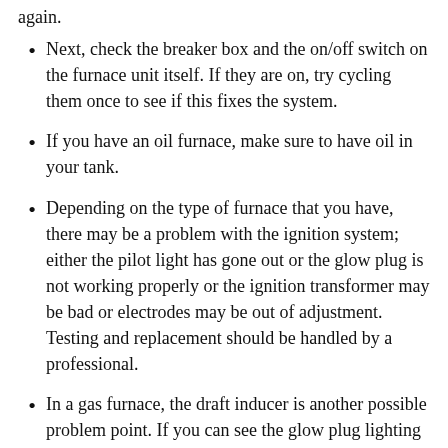again.
Next, check the breaker box and the on/off switch on the furnace unit itself. If they are on, try cycling them once to see if this fixes the system.
If you have an oil furnace, make sure to have oil in your tank.
Depending on the type of furnace that you have, there may be a problem with the ignition system; either the pilot light has gone out or the glow plug is not working properly or the ignition transformer may be bad or electrodes may be out of adjustment. Testing and replacement should be handled by a professional.
In a gas furnace, the draft inducer is another possible problem point. If you can see the glow plug lighting up and turning red hot but there isn't a whooshing sound within about 30 seconds, the draft inducer is likely being a point to the...